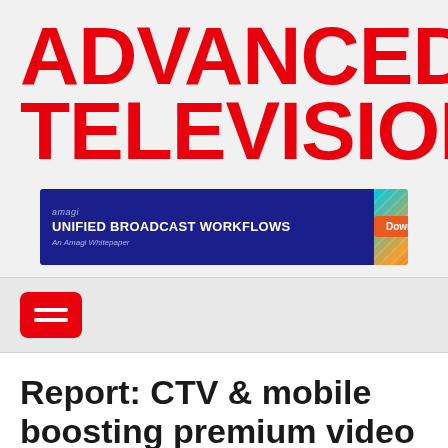ADVANCED TELEVISION
[Figure (infographic): Amagi advertisement banner: blue left panel with 'amagi UNIFIED BROADCAST WORKFLOWS An Amagi Whitepaper' text, colorful streaking lights background on right panel with orange Download button]
[Figure (other): Red rounded-rectangle hamburger menu button with three white horizontal lines]
Report: CTV & mobile boosting premium video ad views